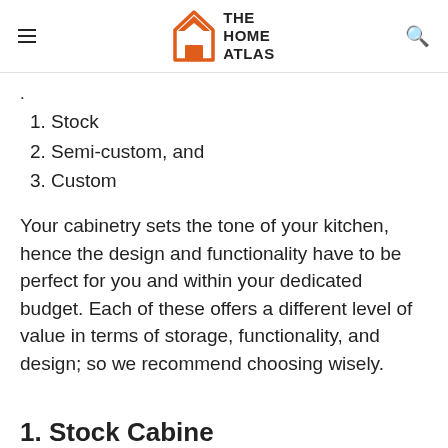THE HOME ATLAS
1. Stock
2. Semi-custom, and
3. Custom
Your cabinetry sets the tone of your kitchen, hence the design and functionality have to be perfect for you and within your dedicated budget. Each of these offers a different level of value in terms of storage, functionality, and design; so we recommend choosing wisely.
1. Stock Cabinets